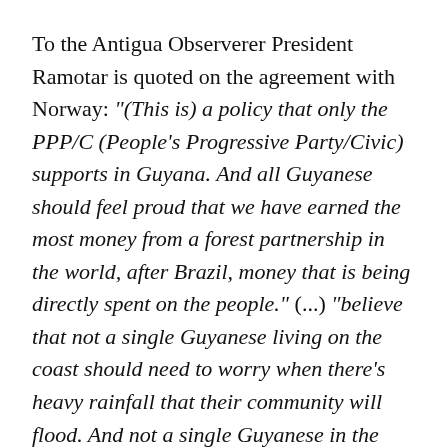To the Antigua Observerer President Ramotar is quoted on the agreement with Norway: "(This is) a policy that only the PPP/C (People's Progressive Party/Civic) supports in Guyana. And all Guyanese should feel proud that we have earned the most money from a forest partnership in the world, after Brazil, money that is being directly spent on the people." (...) "believe that not a single Guyanese living on the coast should need to worry when there's heavy rainfall that their community will flood. And not a single Guyanese in the hinterland should need to worry about not having water during droughts. Nor should any Amerindian community need to worry about having enough economic opportunities to support their [continues...]